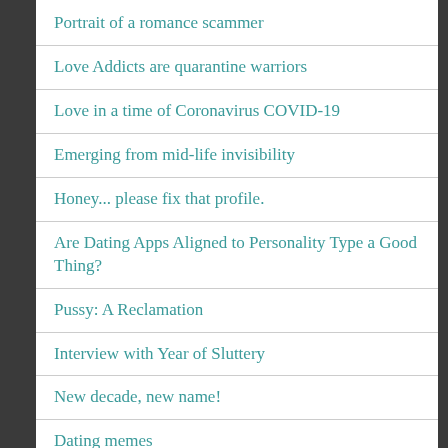Portrait of a romance scammer
Love Addicts are quarantine warriors
Love in a time of Coronavirus COVID-19
Emerging from mid-life invisibility
Honey... please fix that profile.
Are Dating Apps Aligned to Personality Type a Good Thing?
Pussy: A Reclamation
Interview with Year of Sluttery
New decade, new name!
Dating memes